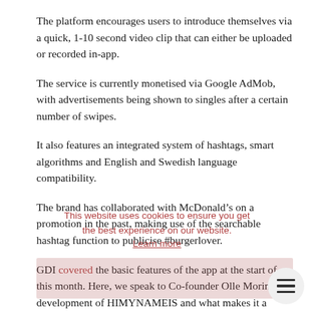The platform encourages users to introduce themselves via a quick, 1-10 second video clip that can either be uploaded or recorded in-app.
The service is currently monetised via Google AdMob, with advertisements being shown to singles after a certain number of swipes.
It also features an integrated system of hashtags, smart algorithms and English and Swedish language compatibility.
The brand has collaborated with McDonald’s on a promotion in the past, making use of the searchable hashtag function to publicise #burgerlover.
GDI covered the basic features of the app at the start of this month. Here, we speak to Co-founder Olle Morin abo… development of HIMYNAMEIS and what makes it a… potential acquisition.